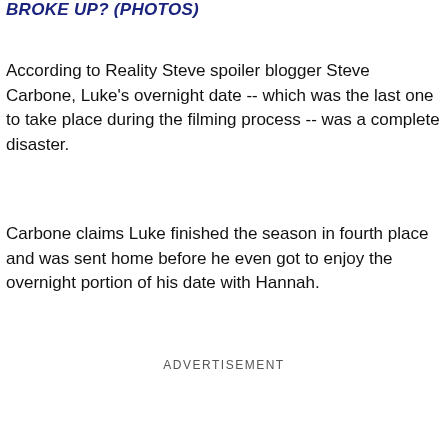BROKE UP? (PHOTOS)
According to Reality Steve spoiler blogger Steve Carbone, Luke's overnight date -- which was the last one to take place during the filming process -- was a complete disaster.
Carbone claims Luke finished the season in fourth place and was sent home before he even got to enjoy the overnight portion of his date with Hannah.
ADVERTISEMENT